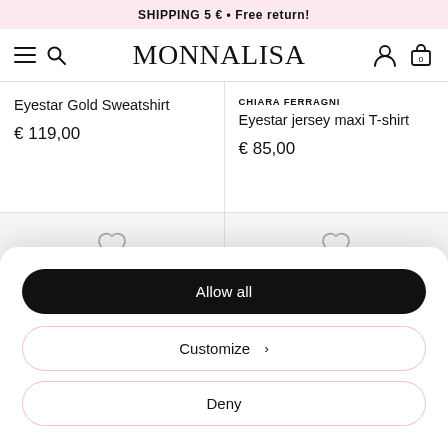SHIPPING 5 € • Free return!
[Figure (screenshot): Monnalisa e-commerce navigation bar with hamburger menu, search icon, MONNALISA logo, user account icon, and shopping bag icon showing 0 items]
Eyestar Gold Sweatshirt
€ 119,00
CHIARA FERRAGNI
Eyestar jersey maxi T-shirt
€ 85,00
[Figure (illustration): Heart/wishlist icon for left product]
[Figure (illustration): Heart/wishlist icon for right product]
Allow all
Customize >
Deny
CHIARA FERRAGNI
CHIARA FERRAGNI